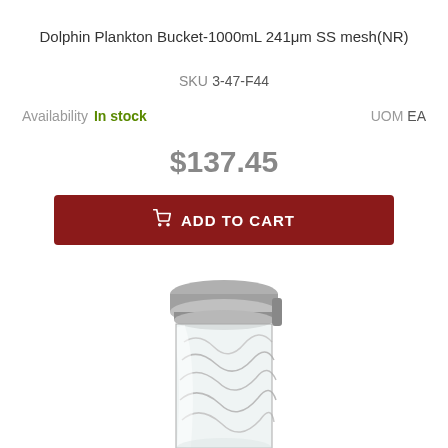Dolphin Plankton Bucket-1000mL 241μm SS mesh(NR)
SKU 3-47-F44
Availability In stock
UOM EA
$137.45
[Figure (photo): Top portion of a plankton bucket with silver metal lid/cap and clear cylindrical body with mesh interior visible]